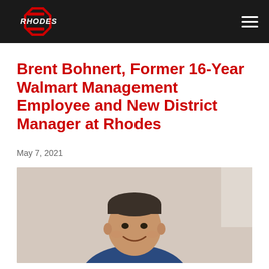Rhodes
Brent Bohnert, Former 16-Year Walmart Management Employee and New District Manager at Rhodes
May 7, 2021
[Figure (photo): Headshot photo of Brent Bohnert, a man in a blue jacket, smiling, against a light beige/white wall background.]